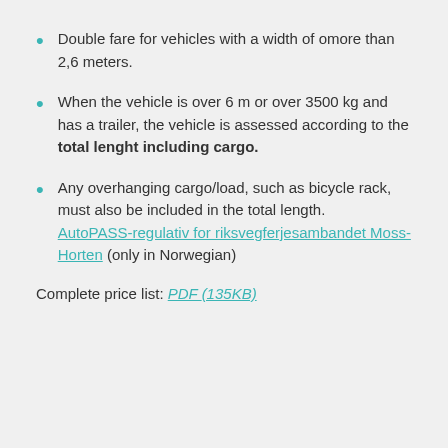Double fare for vehicles with a width of omore than 2,6 meters.
When the vehicle is over 6 m or over 3500 kg and has a trailer, the vehicle is assessed according to the total lenght including cargo.
Any overhanging cargo/load, such as bicycle rack, must also be included in the total length. AutoPASS-regulativ for riksvegferjesambandet Moss-Horten (only in Norwegian)
Complete price list: PDF (135KB)